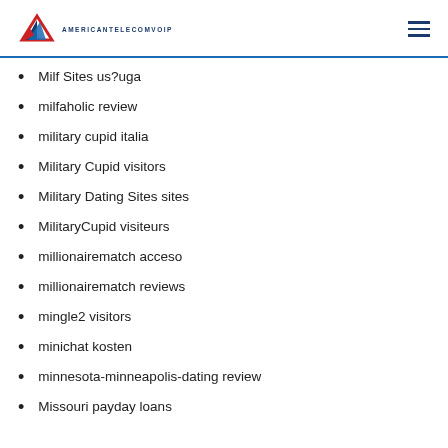AMERICANTELECOMVOIP
Milf Sites us?uga
milfaholic review
military cupid italia
Military Cupid visitors
Military Dating Sites sites
MilitaryCupid visiteurs
millionairematch acceso
millionairematch reviews
mingle2 visitors
minichat kosten
minnesota-minneapolis-dating review
Missouri payday loans